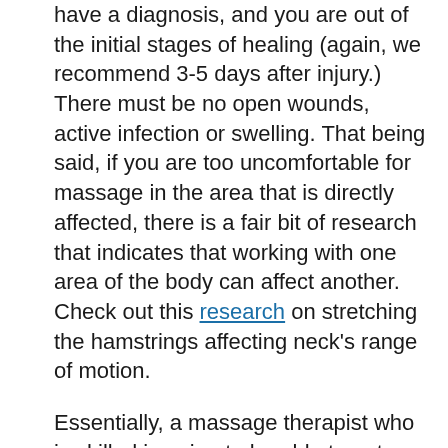have a diagnosis, and you are out of the initial stages of healing (again, we recommend 3-5 days after injury.) There must be no open wounds, active infection or swelling. That being said, if you are too uncomfortable for massage in the area that is directly affected, there is a fair bit of research that indicates that working with one area of the body can affect another. Check out this research on stretching the hamstrings affecting neck's range of motion.
Essentially, a massage therapist who is skilled is going to be able to get you more comfortable while you heal. They'll do this by working on another body part and by just generally relaxing the nervous system.
Massage for acute areas of pain must be gentle, and focus on relieving discomfort rather than gaining function. Heat or ice may be applied to the back depending on what feels better. Soft strokes such as